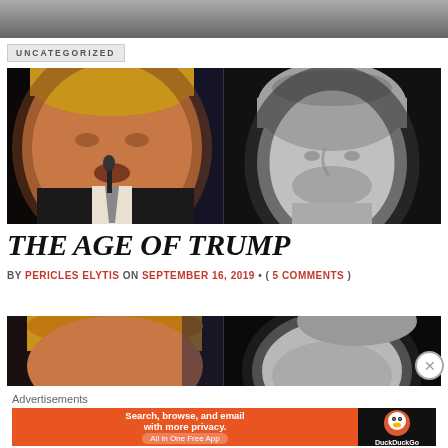[Figure (photo): Header background image showing a crowd/building scene in grayscale]
UNCATEGORIZED
[Figure (photo): Side-by-side composite image: left half shows Donald Trump speaking at a microphone (color photo), right half shows a classical Greek/Roman bust of Pericles with helmet (black and white)]
THE AGE OF TRUMP
BY PERICLES ELYTIS ON SEPTEMBER 16, 2019 • ( 5 COMMENTS )
[Figure (photo): Cropped/zoomed version of the same composite image showing the top portions of Trump and the bust]
Advertisements
[Figure (screenshot): DuckDuckGo advertisement banner: orange background with text 'Search, browse, and email with more privacy. All in One Free App' and DuckDuckGo duck logo on dark background on the right side]